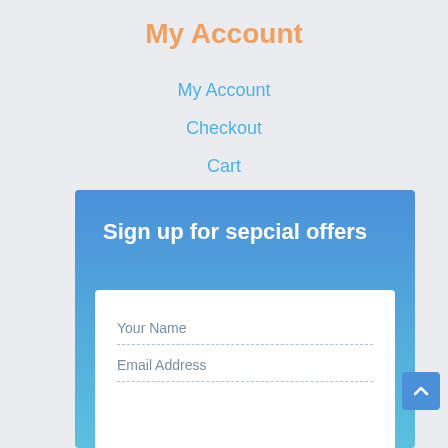My Account
My Account
Checkout
Cart
Wishlist
Sign up for sepcial offers
Your Name
Email Address